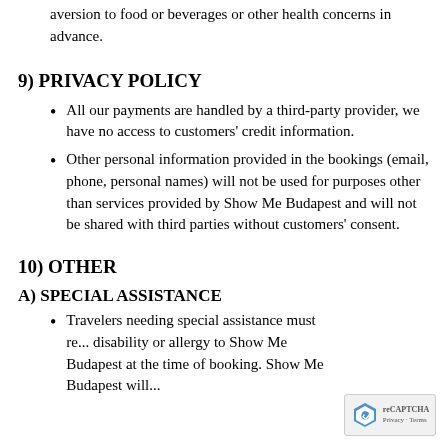aversion to food or beverages or other health concerns in advance.
9) PRIVACY POLICY
All our payments are handled by a third-party provider, we have no access to customers' credit information.
Other personal information provided in the bookings (email, phone, personal names) will not be used for purposes other than services provided by Show Me Budapest and will not be shared with third parties without customers' consent.
10) OTHER
A) SPECIAL ASSISTANCE
Travelers needing special assistance must re... disability or allergy to Show Me Budapest at the time of booking. Show Me Budapest will...